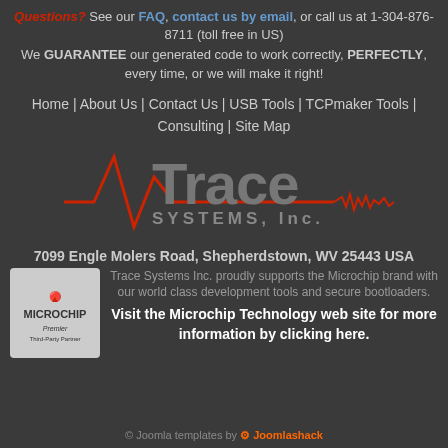Questions? See our FAQ, contact us by email, or call us at 1-304-876-8711 (toll free in US)
We GUARANTEE our generated code to work correctly, PERFECTLY, every time, or we will make it right!
Home | About Us | Contact Us | USB Tools | TCPmaker Tools | Consulting | Site Map
[Figure (logo): Trace Systems Inc. logo with red waveform graphic and grey text]
7099 Engle Molers Road, Shepherdstown, WV 25443 USA
Trace Systems Inc. proudly supports the Microchip brand with our world class development tools and secure bootloaders.
Visit the Microchip Technology web site for more information by clicking here.
© Joomla templates by Joomlashack